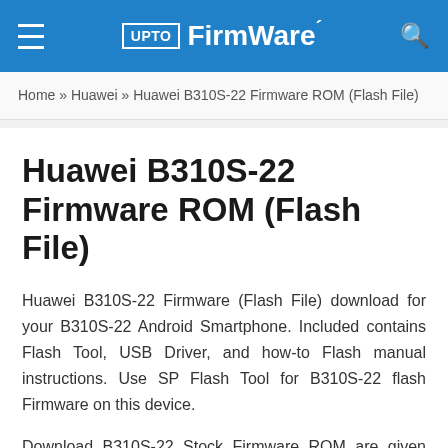UPTO Firmware
Home » Huawei » Huawei B310S-22 Firmware ROM (Flash File)
Huawei B310S-22 Firmware ROM (Flash File)
Huawei B310S-22 Firmware (Flash File) download for your B310S-22 Android Smartphone. Included contains Flash Tool, USB Driver, and how-to Flash manual instructions. Use SP Flash Tool for B310S-22 flash Firmware on this device.
Download B310S-22 Stock Firmware ROM are given below. Please find the direct link and download your desired File. We recommend you